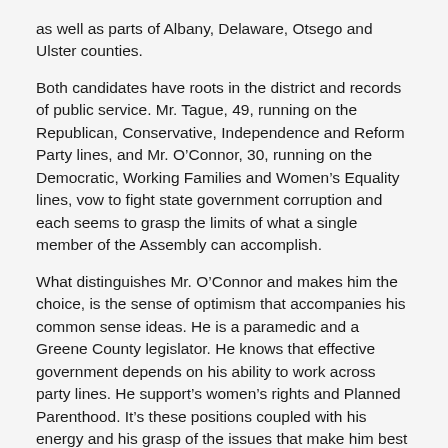as well as parts of Albany, Delaware, Otsego and Ulster counties.
Both candidates have roots in the district and records of public service. Mr. Tague, 49, running on the Republican, Conservative, Independence and Reform Party lines, and Mr. O’Connor, 30, running on the Democratic, Working Families and Women’s Equality lines, vow to fight state government corruption and each seems to grasp the limits of what a single member of the Assembly can accomplish.
What distinguishes Mr. O’Connor and makes him the choice, is the sense of optimism that accompanies his common sense ideas. He is a paramedic and a Greene County legislator. He knows that effective government depends on his ability to work across party lines. He support’s women’s rights and Planned Parenthood. It’s these positions coupled with his energy and his grasp of the issues that make him best suited to help shift more state resources upstate and to serve the people of the district and the state. Please vote for Aiden O’Connor on November 6.